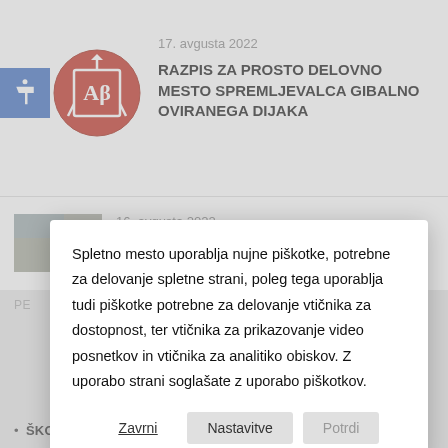17. avgusta 2022
RAZPIS ZA PROSTO DELOVNO MESTO SPREMLJEVALCA GIBALNO OVIRANEGA DIJAKA
16. avgusta 2022
Spletno mesto uporablja nujne piškotke, potrebne za delovanje spletne strani, poleg tega uporablja tudi piškotke potrebne za delovanje vtičnika za dostopnost, ter vtičnika za prikazovanje video posnetkov in vtičnika za analitiko obiskov. Z uporabo strani soglašate z uporabo piškotkov.
Zavrni
Nastavitve
Potrdi
PE
ŠKOFIJSKA KLASIČNA GIMNAZIJA